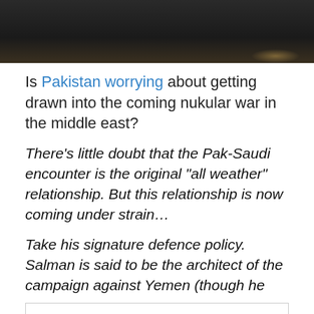[Figure (photo): Dark moody photograph, mostly dark tones with a faint warm glow at bottom right]
Is Pakistan worrying about getting drawn into the coming nukular war in the middle east?
There’s little doubt that the Pak-Saudi encounter is the original “all weather” relationship. But this relationship is now coming under strain…
Take his signature defence policy. Salman is said to be the architect of the campaign against Yemen (though he
Privacy & Cookies: This site uses cookies. By continuing to use this website, you agree to their use.
To find out more, including how to control cookies, see here: Cookie Policy
Close and accept
Organisation